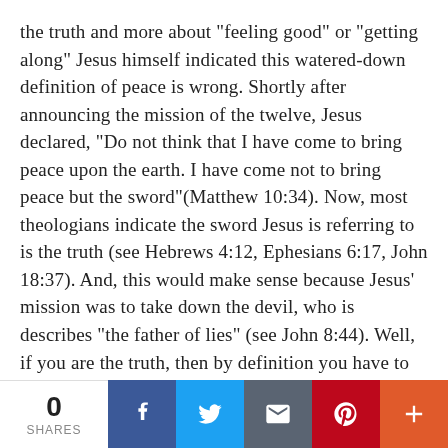the truth and more about "feeling good" or "getting along" Jesus himself indicated this watered-down definition of peace is wrong. Shortly after announcing the mission of the twelve, Jesus declared, "Do not think that I have come to bring peace upon the earth. I have come not to bring peace but the sword"(Matthew 10:34). Now, most theologians indicate the sword Jesus is referring to is the truth (see Hebrews 4:12, Ephesians 6:17, John 18:37). And, this would make sense because Jesus' mission was to take down the devil, who is describes "the father of lies" (see John 8:44). Well, if you are the truth, then by definition you have to cut out all the lies and deception so the truth can be seen. Notice again how peace is associated with truth. Moreover, with the image of the sword, Jesus is proposing that the process of getting at the truth is going to be uncomfortable at first. The reason
[Figure (infographic): Social sharing bar with 0 shares count, and buttons for Facebook, Twitter, Email, Pinterest, and More (+)]